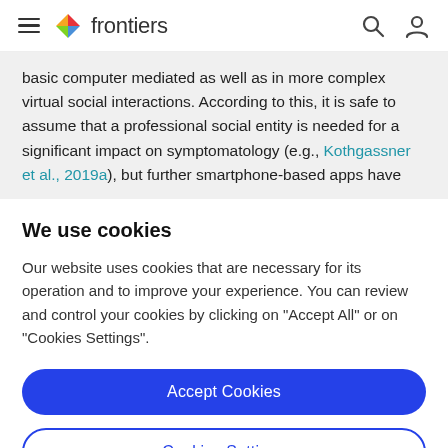frontiers
basic computer mediated as well as in more complex virtual social interactions. According to this, it is safe to assume that a professional social entity is needed for a significant impact on symptomatology (e.g., Kothgassner et al., 2019a), but further smartphone-based apps have
We use cookies
Our website uses cookies that are necessary for its operation and to improve your experience. You can review and control your cookies by clicking on "Accept All" or on "Cookies Settings".
Accept Cookies
Cookies Settings